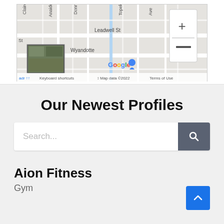[Figure (screenshot): Google Maps screenshot showing street map with roads including Leadwell St, Wyandotte, and surrounding streets. Shows zoom +/- controls, Google logo, keyboard shortcuts, Map data 2022, Terms of Use footer.]
Our Newest Profiles
[Figure (screenshot): Search bar with placeholder text 'Search...' and a dark gray search button with magnifying glass icon]
Aion Fitness
Gym